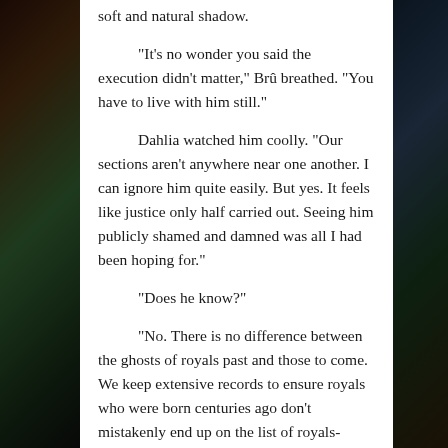soft and natural shadow.
“It’s no wonder you said the execution didn’t matter,” Brû breathed. “You have to live with him still.”
Dahlia watched him coolly. “Our sections aren’t anywhere near one another. I can ignore him quite easily. But yes. It feels like justice only half carried out. Seeing him publicly shamed and damned was all I had been hoping for.”
“Does he know?”
“No. There is no difference between the ghosts of royals past and those to come. We keep extensive records to ensure royals who were born centuries ago don’t mistakenly end up on the list of royals-expectant.” She looked away and closed her eyes. “I know it’s all fascinating at first, but we do need to move quickly.”